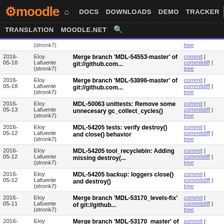Moodle DEV navigation: DOCS DOWNLOADS DEMO TRACKER DEV | TRANSLATION MOODLE.NET
| Date | Author | Message | Links |
| --- | --- | --- | --- |
|  | (stronk7) |  | tree |
| 2016-05-18 | Eloy Lafuente (stronk7) | Merge branch 'MDL-54553-master' of git://github.com... | commit | commitdiff | tree |
| 2016-05-18 | Eloy Lafuente (stronk7) | Merge branch 'MDL-53896-master' of git://github.com... | commit | commitdiff | tree |
| 2016-05-13 | Eloy Lafuente (stronk7) | MDL-50063 unittests: Remove some unnecesary gc_collect_cycles() | commit | commitdiff | tree |
| 2016-05-12 | Eloy Lafuente (stronk7) | MDL-54205 tests: verify destroy() and close() behavior | commit | commitdiff | tree |
| 2016-05-12 | Eloy Lafuente (stronk7) | MDL-54205 tool_recyclebin: Adding missing destroy(... | commit | commitdiff | tree |
| 2016-05-12 | Eloy Lafuente (stronk7) | MDL-54205 backup: loggers close() and destroy() | commit | commitdiff | tree |
| 2016-05-11 | Eloy Lafuente (stronk7) | Merge branch 'MDL-53170_levels-fix' of git://github... | commit | commitdiff | tree |
| 2016-05-10 | Eloy Lafuente (stronk7) | Merge branch 'MDL-53170_master' of git://github.com... | commit | commitdiff |